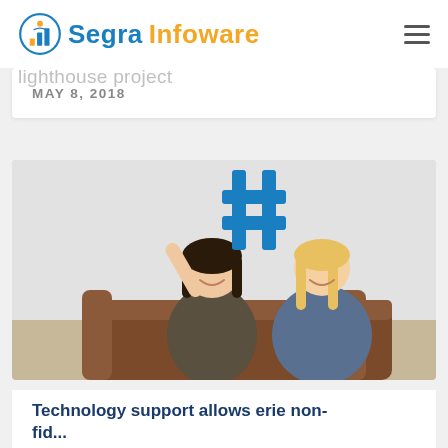[Figure (logo): Segra Infoware logo with circular icon featuring bar chart and person silhouette in blue and orange, with text 'Segra Infoware' in blue and orange]
HSS lighthouse project
MAY 8, 2018
[Figure (photo): Two smiling women sitting on a brown leather couch, one holding up a large blue hashtag (#) symbol cutout against a light gray background]
Technology support allows erie non-fid...